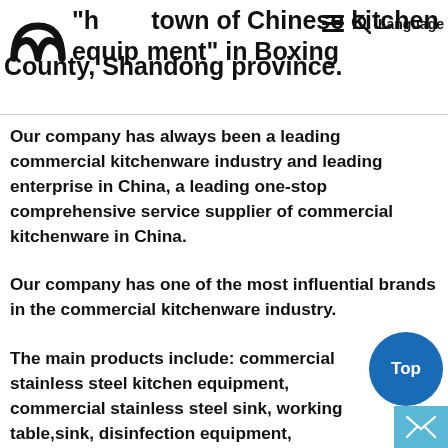"hometown of Chinese kitchen equipment" in Boxing County, Shandong province.
Our company has always been a leading commercial kitchenware industry and leading enterprise in China, a leading one-stop comprehensive service supplier of commercial kitchenware in China.
Our company has one of the most influential brands in the commercial kitchenware industry.
The main products include: commercial stainless steel kitchen equipment, commercial stainless steel sink, working table,sink, disinfection equipment, smokeless barbecue equipment, commercial refrigeration equipment, the kitchen and catering f...